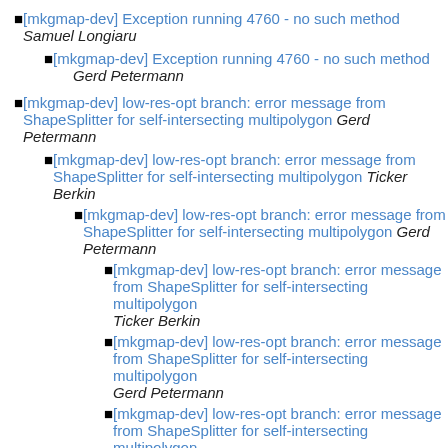[mkgmap-dev] Exception running 4760 - no such method   Samuel Longiaru
[mkgmap-dev] Exception running 4760 - no such method   Gerd Petermann
[mkgmap-dev] low-res-opt branch: error message from ShapeSplitter for self-intersecting multipolygon   Gerd Petermann
[mkgmap-dev] low-res-opt branch: error message from ShapeSplitter for self-intersecting multipolygon   Ticker Berkin
[mkgmap-dev] low-res-opt branch: error message from ShapeSplitter for self-intersecting multipolygon   Gerd Petermann
[mkgmap-dev] low-res-opt branch: error message from ShapeSplitter for self-intersecting multipolygon   Ticker Berkin
[mkgmap-dev] low-res-opt branch: error message from ShapeSplitter for self-intersecting multipolygon   Gerd Petermann
[mkgmap-dev] low-res-opt branch: error message from ShapeSplitter for self-intersecting multipolygon